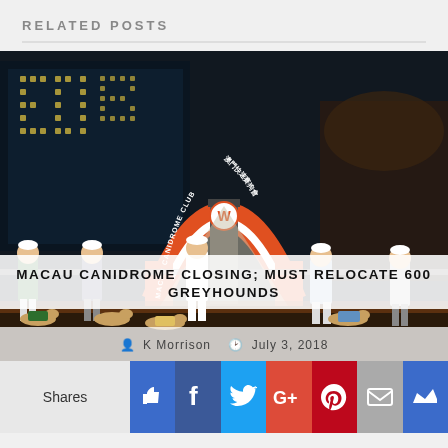RELATED POSTS
[Figure (photo): Greyhound handlers with greyhounds on a track at Macau Canidrome Club at night, with an orange arch bearing the club name and Chinese characters, and a W-branded starting box in the center. Scoreboard visible in background.]
MACAU CANIDROME CLOSING; MUST RELOCATE 600 GREYHOUNDS
K Morrison   July 3, 2018